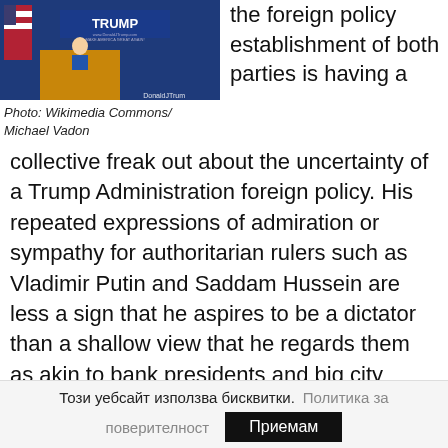[Figure (photo): Photo of Trump at a campaign podium with blue Trump banner and American flag in background]
Photo: Wikimedia Commons/ Michael Vadon
the foreign policy establishment of both parties is having a collective freak out about the uncertainty of a Trump Administration foreign policy. His repeated expressions of admiration or sympathy for authoritarian rulers such as Vladimir Putin and Saddam Hussein are less a sign that he aspires to be a dictator than a shallow view that he regards them as akin to bank presidents and big city mayors with whom he can cut deals as if he was merely siting another Trump tower. He is certain to have a rude awakening if he
Този уебсайт използва бисквитки.  Политика за поверителност  Приемам